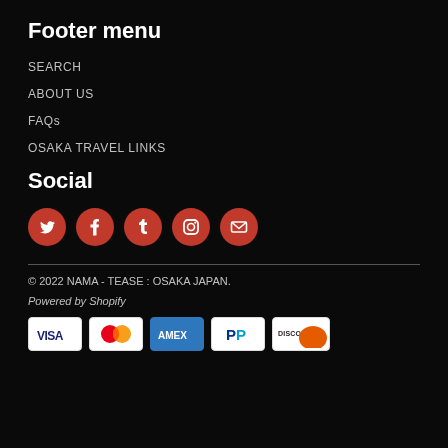Footer menu
SEARCH
ABOUT US
FAQs
OSAKA TRAVEL LINKS
Social
[Figure (infographic): Row of 5 red circular social media icons: Twitter, Facebook, Tumblr, Instagram, Email]
© 2022 NAMA - TEASE : OSAKA JAPAN.
Powered by Shopify
[Figure (infographic): Payment method icons: VISA, Mastercard, AMEX, PayPal, Discover]